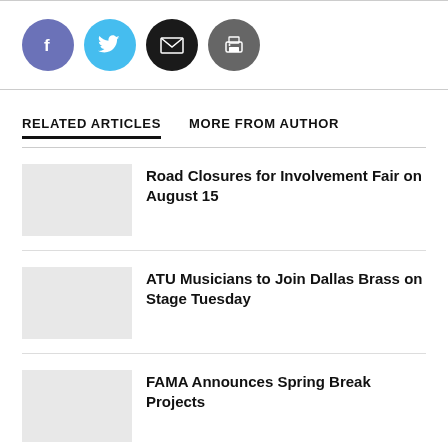[Figure (other): Social sharing icons: Facebook (blue-purple circle), Twitter (cyan circle), Email (black circle with envelope), Print (dark gray circle with printer icon)]
RELATED ARTICLES   MORE FROM AUTHOR
Road Closures for Involvement Fair on August 15
ATU Musicians to Join Dallas Brass on Stage Tuesday
FAMA Announces Spring Break Projects